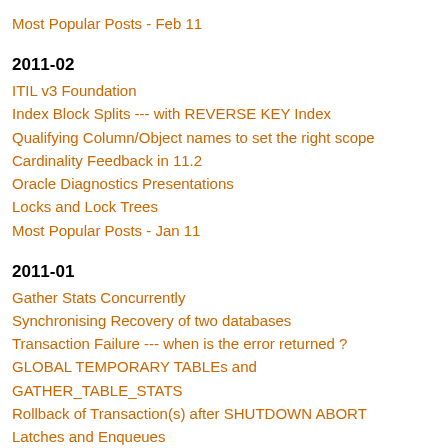Most Popular Posts - Feb 11
2011-02
ITIL v3 Foundation
Index Block Splits --- with REVERSE KEY Index
Qualifying Column/Object names to set the right scope
Cardinality Feedback in 11.2
Oracle Diagnostics Presentations
Locks and Lock Trees
Most Popular Posts - Jan 11
2011-01
Gather Stats Concurrently
Synchronising Recovery of two databases
Transaction Failure --- when is the error returned ?
GLOBAL TEMPORARY TABLEs and GATHER_TABLE_STATS
Rollback of Transaction(s) after SHUTDOWN ABORT
Latches and Enqueues
Incomplete Recovery
ZDNet Asia IT Salary Benchmark 2010
Most Popular Posts - Dec 10